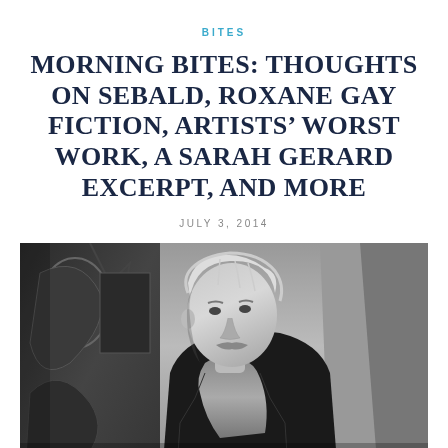BITES
MORNING BITES: THOUGHTS ON SEBALD, ROXANE GAY FICTION, ARTISTS' WORST WORK, A SARAH GERARD EXCERPT, AND MORE
JULY 3, 2014
[Figure (photo): Black and white photograph of an older man with white hair and a mustache, wearing a dark jacket and scarf, looking upward, with abstract artwork visible in the background.]